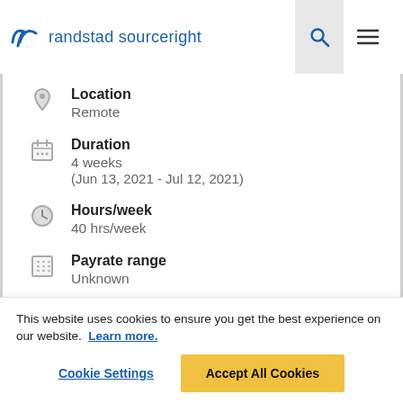randstad sourceright
Location
Remote
Duration
4 weeks
(Jun 13, 2021 - Jul 12, 2021)
Hours/week
40 hrs/week
Payrate range
Unknown
This website uses cookies to ensure you get the best experience on our website. Learn more.
Cookie Settings
Accept All Cookies